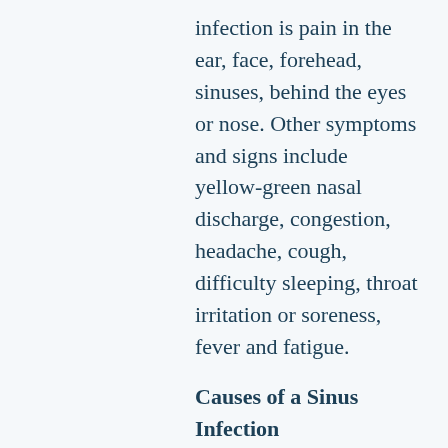infection is pain in the ear, face, forehead, sinuses, behind the eyes or nose. Other symptoms and signs include yellow-green nasal discharge, congestion, headache, cough, difficulty sleeping, throat irritation or soreness, fever and fatigue.
Causes of a Sinus Infection
Your sinuses serve an important purpose; the hollow cavities in your cheekbones, around your eyes and behind your nose contain mucus that filters, warms and moistens the air you breathe. An infection is typically caused by something blocking the mucus from draining.
Typically, a sinus infection will start